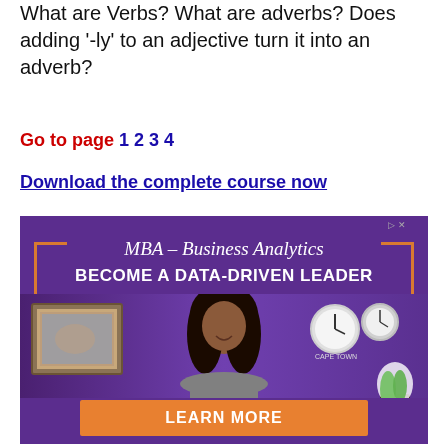What are Verbs? What are adverbs? Does adding '-ly' to an adjective turn it into an adverb?
Go to page 1 2 3 4
Download the complete course now
[Figure (photo): Advertisement banner for MBA – Business Analytics program reading 'BECOME A DATA-DRIVEN LEADER' with a photo of a smiling woman and a 'LEARN MORE' button, purple background with orange accents.]